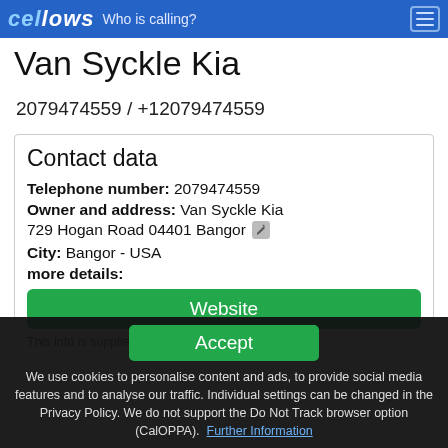cellows Who is calling?
Van Syckle Kia
2079474559 / +12079474559
Contact data
Telephone number: 2079474559
Owner and address: Van Syckle Kia 729 Hogan Road 04401 Bangor
City: Bangor - USA
more details:
Website
This info is supplied without liability.
Accept
We use cookies to personalise content and ads, to provide social media features and to analyse our traffic. Individual settings can be changed in the Privacy Policy. We do not support the Do Not Track browser option (CalOPPA). Further Information